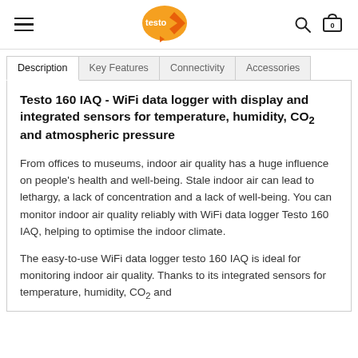testo logo, hamburger menu, search icon, cart icon (0)
Description | Key Features | Connectivity | Accessories
Testo 160 IAQ - WiFi data logger with display and integrated sensors for temperature, humidity, CO2 and atmospheric pressure
From offices to museums, indoor air quality has a huge influence on people's health and well-being. Stale indoor air can lead to lethargy, a lack of concentration and a lack of well-being. You can monitor indoor air quality reliably with WiFi data logger Testo 160 IAQ, helping to optimise the indoor climate.
The easy-to-use WiFi data logger testo 160 IAQ is ideal for monitoring indoor air quality. Thanks to its integrated sensors for temperature, humidity, CO2 and